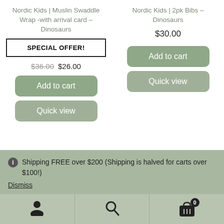Nordic Kids | Muslin Swaddle Wrap -with arrival card – Dinosaurs
SPECIAL OFFER!
$36.00  $26.00
Add to cart
Quick view
Nordic Kids | 2pk Bibs – Dinosaurs
$30.00
Add to cart
Quick view
ℹ Shipping FREE over $200 (Shipping is halved for carts over $100!)
Dismiss
Account | Search | Cart (0)